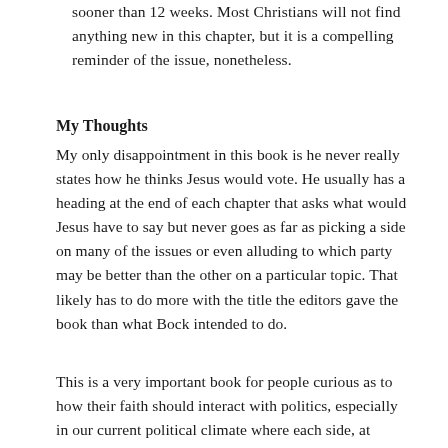sooner than 12 weeks. Most Christians will not find anything new in this chapter, but it is a compelling reminder of the issue, nonetheless.
My Thoughts
My only disappointment in this book is he never really states how he thinks Jesus would vote. He usually has a heading at the end of each chapter that asks what would Jesus have to say but never goes as far as picking a side on many of the issues or even alluding to which party may be better than the other on a particular topic. That likely has to do more with the title the editors gave the book than what Bock intended to do.
This is a very important book for people curious as to how their faith should interact with politics, especially in our current political climate where each side, at